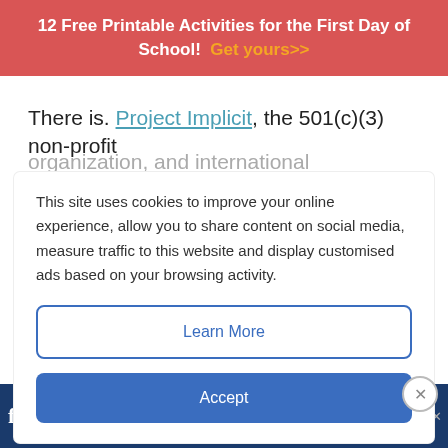12 Free Printable Activities for the First Day of School! Get yours>>
There is. Project Implicit, the 501(c)(3) non-profit organization, and international collaborative of
This site uses cookies to improve your online experience, allow you to share content on social media, measure traffic to this website and display customised ads based on your browsing activity.
Learn More
Accept
IAT researchers, however, feel that there are beneficial aspects of finding out potential biases and the ability to “predict average outcomes
Pickup & To Go Available McAlister's Deli